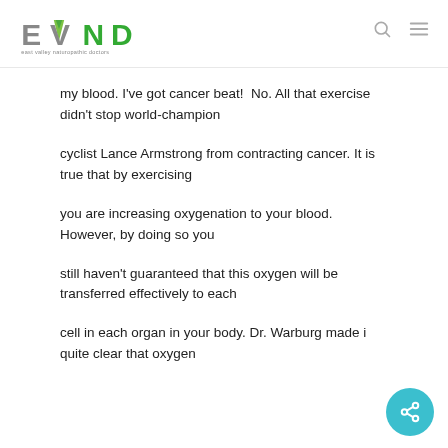EVND - east valley naturopathic doctors
my blood. I've got cancer beat!  No. All that exercise didn't stop world-champion
cyclist Lance Armstrong from contracting cancer. It is true that by exercising
you are increasing oxygenation to your blood. However, by doing so you
still haven't guaranteed that this oxygen will be transferred effectively to each
cell in each organ in your body. Dr. Warburg made it quite clear that oxygen